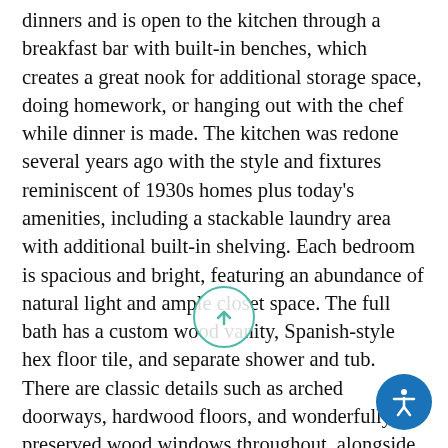dinners and is open to the kitchen through a breakfast bar with built-in benches, which creates a great nook for additional storage space, doing homework, or hanging out with the chef while dinner is made. The kitchen was redone several years ago with the style and fixtures reminiscent of 1930s homes plus today's amenities, including a stackable laundry area with additional built-in shelving. Each bedroom is spacious and bright, featuring an abundance of natural light and ample closet space. The full bath has a custom wood vanity, Spanish-style hex floor tile, and separate shower and tub. There are classic details such as arched doorways, hardwood floors, and wonderfully preserved wood windows throughout, alongside modern amenities like central air and heat, new water lines, new water heater, and recessed lights. Surrounded by mature hedges, the back yard is private and ideal for enjoying a sunny California winter outside. A covered deck provides an al fresco dining spot and leads into the finished garage. With a bonus three-quarter bath, this is the perfect fl... space for working from home, hosting guests, storage, or